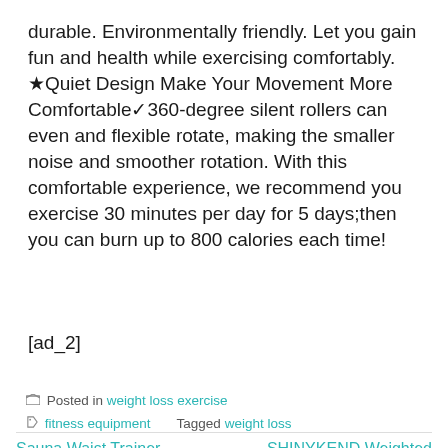durable. Environmentally friendly. Let you gain fun and health while exercising comfortably. ⭐Quiet Design Make Your Movement More Comfortable✅360-degree silent rollers can even and flexible rotate, making the smaller noise and smoother rotation. With this comfortable experience, we recommend you exercise 30 minutes per day for 5 days;then you can burn up to 800 calories each time!
[ad_2]
Posted in weight loss exercise fitness equipment   Tagged weight loss
Sauna Waist Trainer for Women Weight Loss, Waist Cincher
SHINYKEND Weighted Smart Hoola Exercise Hoop, Hoola Hoops for